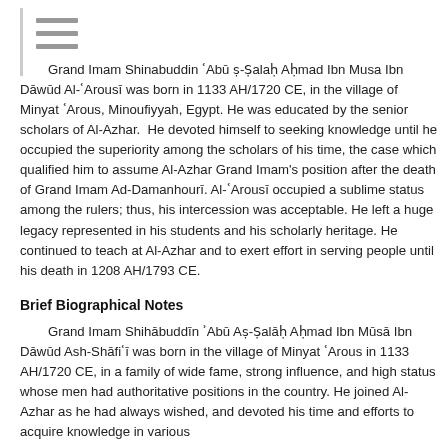Grand Imam Shinabuddin ʿAbū ṣ-Ṣalaḥ Aḥmad Ibn Musa Ibn Dāwūd Al-ʿArousī was born in 1133 AH/1720 CE, in the village of Minyat ʿArous, Minoufiyyah, Egypt. He was educated by the senior scholars of Al-Azhar. He devoted himself to seeking knowledge until he occupied the superiority among the scholars of his time, the case which qualified him to assume Al-Azhar Grand Imam's position after the death of Grand Imam Ad-Damanhourī. Al-ʿArousī occupied a sublime status among the rulers; thus, his intercession was acceptable. He left a huge legacy represented in his students and his scholarly heritage. He continued to teach at Al-Azhar and to exert effort in serving people until his death in 1208 AH/1793 CE.
Brief Biographical Notes
Grand Imam Shihābuddīn ʾAbū Aṣ-Ṣalāḥ Aḥmad Ibn Mūsā Ibn Dāwūd Ash-Shāfiʿī was born in the village of Minyat ʿArous in 1133 AH/1720 CE, in a family of wide fame, strong influence, and high status whose men had authoritative positions in the country. He joined Al-Azhar as he had always wished, and devoted his time and efforts to acquire knowledge in various